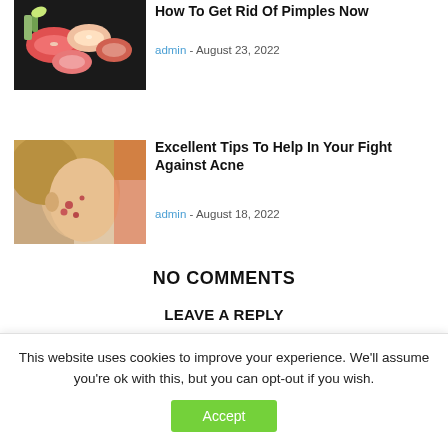[Figure (photo): Sushi platter with various pieces of nigiri and rolls on a dark tray]
How To Get Rid Of Pimples Now
admin - August 23, 2022
[Figure (photo): Young woman with acne on her face looking down]
Excellent Tips To Help In Your Fight Against Acne
admin - August 18, 2022
NO COMMENTS
LEAVE A REPLY
This website uses cookies to improve your experience. We'll assume you're ok with this, but you can opt-out if you wish.